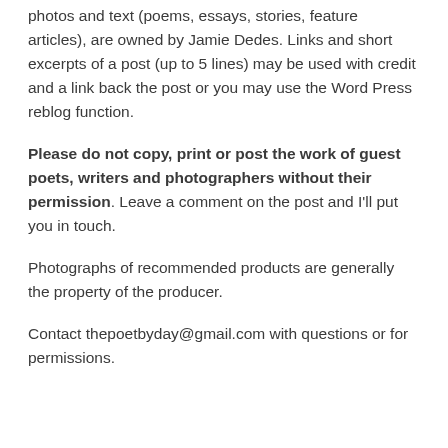photos and text (poems, essays, stories, feature articles), are owned by Jamie Dedes. Links and short excerpts of a post (up to 5 lines) may be used with credit and a link back the post or you may use the Word Press reblog function.
Please do not copy, print or post the work of guest poets, writers and photographers without their permission. Leave a comment on the post and I'll put you in touch.
Photographs of recommended products are generally the property of the producer.
Contact thepoetbyday@gmail.com with questions or for permissions.
The Poet by Day is an information hub for poets and writers. Featured each week  are Calls for Submissions, Contests, Events